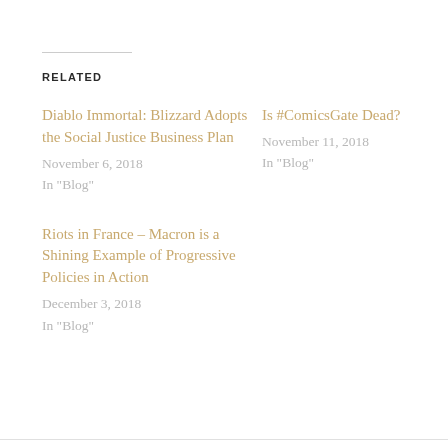RELATED
Diablo Immortal: Blizzard Adopts the Social Justice Business Plan
November 6, 2018
In "Blog"
Is #ComicsGate Dead?
November 11, 2018
In "Blog"
Riots in France – Macron is a Shining Example of Progressive Policies in Action
December 3, 2018
In "Blog"